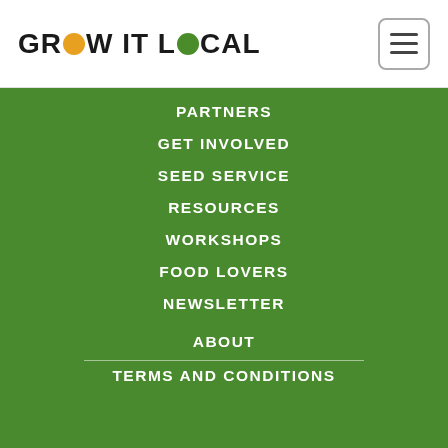GROW IT LOCAL
PARTNERS
GET INVOLVED
SEED SERVICE
RESOURCES
WORKSHOPS
FOOD LOVERS
NEWSLETTER
ABOUT
TERMS AND CONDITIONS